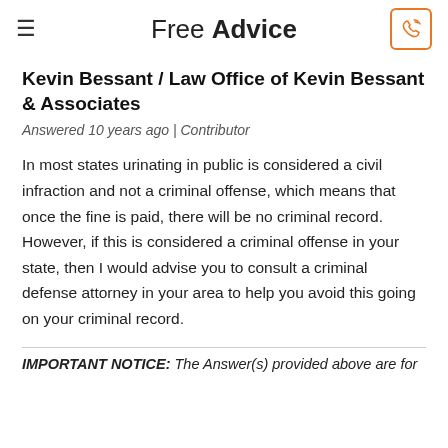Free Advice
Kevin Bessant / Law Office of Kevin Bessant & Associates
Answered 10 years ago | Contributor
In most states urinating in public is considered a civil infraction and not a criminal offense, which means that once the fine is paid, there will be no criminal record. However, if this is considered a criminal offense in your state, then I would advise you to consult a criminal defense attorney in your area to help you avoid this going on your criminal record.
IMPORTANT NOTICE: The Answer(s) provided above are for